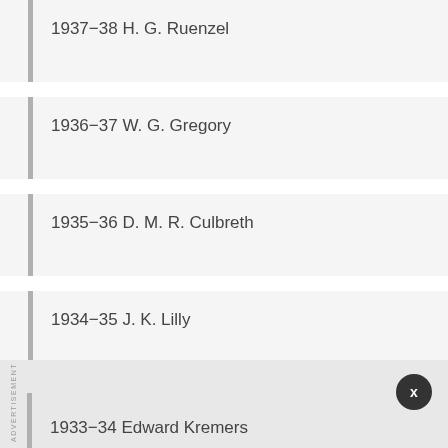1937−38 H. G. Ruenzel
1936−37 W. G. Gregory
1935−36 D. M. R. Culbreth
1934−35 J. K. Lilly
1933−34 Edward Kremers